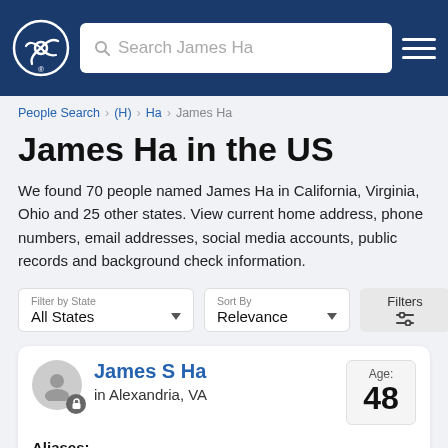Search James Ha
People Search > (H) > Ha > James Ha
James Ha in the US
We found 70 people named James Ha in California, Virginia, Ohio and 25 other states. View current home address, phone numbers, email addresses, social media accounts, public records and background check information.
Filter by State: All States | Sort By: Relevance | Filters
James S Ha in Alexandria, VA — Age: 48 — Aliases: James Ha — Relatives: